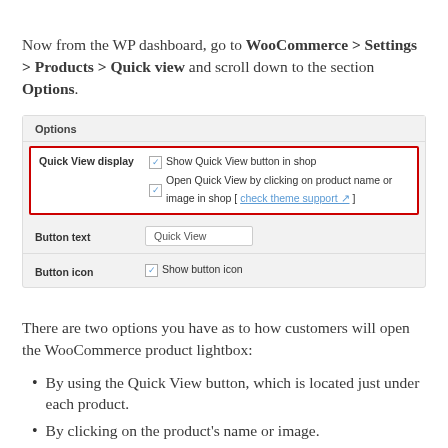Now from the WP dashboard, go to WooCommerce > Settings > Products > Quick view and scroll down to the section Options.
[Figure (screenshot): WooCommerce settings screenshot showing the Options panel with Quick View display row highlighted in red, containing two checked checkboxes: 'Show Quick View button in shop' and 'Open Quick View by clicking on product name or image in shop [check theme support]'. Also shows Button text field with 'Quick View' and Button icon checkbox 'Show button icon'.]
There are two options you have as to how customers will open the WooCommerce product lightbox:
By using the Quick View button, which is located just under each product.
By clicking on the product's name or image.
If you choose the first option (using the Quick View